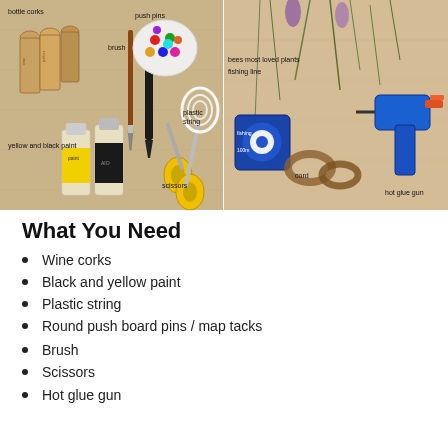[Figure (photo): Two side-by-side photos on a wooden surface. Left photo shows craft supplies labeled: bottle corks, brush, push pins, plastic string, yellow and black paint, scissors. Right photo shows: bees most loved plants, fishing line, cord, hot glue gun.]
What You Need
Wine corks
Black and yellow paint
Plastic string
Round push board pins / map tacks
Brush
Scissors
Hot glue gun